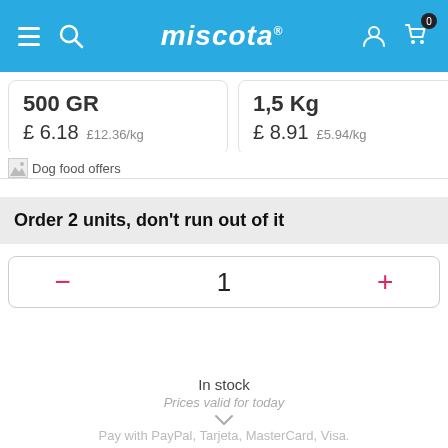[Figure (screenshot): Miscota website header with hamburger menu, search icon, logo, user icon, and cart icon with badge showing 0]
500 GR
£ 6.18  £12.36/kg
1,5 Kg
£ 8.91  £5.94/kg
[Figure (photo): Broken image placeholder for Dog food offers]
Dog food offers
Order 2 units, don't run out of it
1
Add
In stock
Prices valid for today
Pay with PayPal, Tarjeta, MasterCard, Visa.